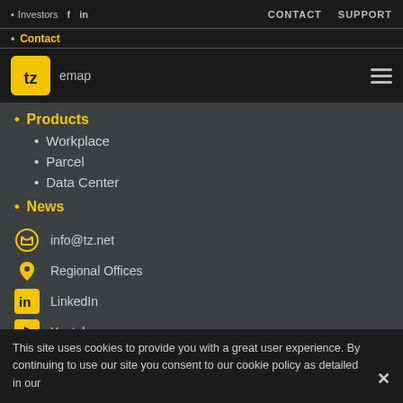· Investors  f  in  CONTACT  SUPPORT
· Contact
[Figure (logo): TZ company logo — yellow rounded square with 'tz' text in black]
· Sitemap
· Products
· Workplace
· Parcel
· Data Center
· News
info@tz.net
Regional Offices
LinkedIn
Youtube
This site uses cookies to provide you with a great user experience. By continuing to use our site you consent to our cookie policy as detailed in our